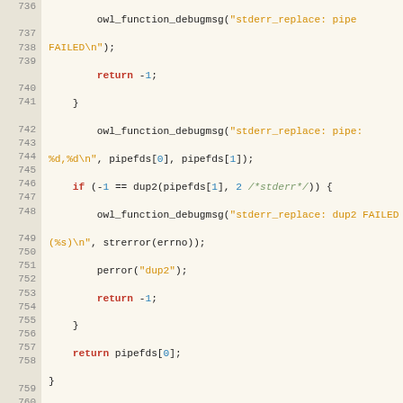[Figure (screenshot): Source code listing in a monospace code viewer, lines 736-763, showing C code for stderr redirect functions with syntax highlighting: keywords in red/bold, strings in orange, numbers/types in blue, comments in green italic.]